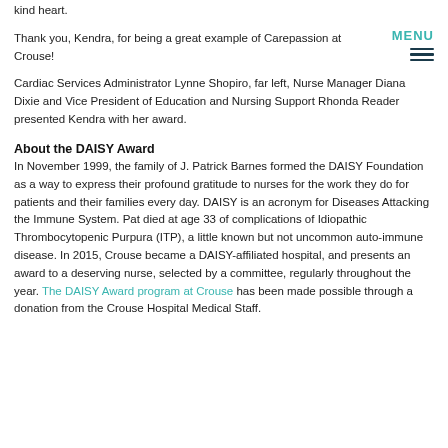kind heart.
Thank you, Kendra, for being a great example of Carepassion at Crouse!
Cardiac Services Administrator Lynne Shopiro, far left, Nurse Manager Diana Dixie and Vice President of Education and Nursing Support Rhonda Reader presented Kendra with her award.
About the DAISY Award
In November 1999, the family of J. Patrick Barnes formed the DAISY Foundation as a way to express their profound gratitude to nurses for the work they do for patients and their families every day. DAISY is an acronym for Diseases Attacking the Immune System. Pat died at age 33 of complications of Idiopathic Thrombocytopenic Purpura (ITP), a little known but not uncommon auto-immune disease. In 2015, Crouse became a DAISY-affiliated hospital, and presents an award to a deserving nurse, selected by a committee, regularly throughout the year. The DAISY Award program at Crouse has been made possible through a donation from the Crouse Hospital Medical Staff.